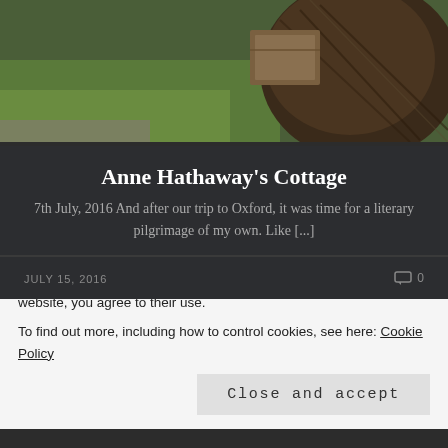[Figure (photo): Top portion of a wicker/willow structure outdoors with green lawn in background and wooden box visible]
Anne Hathaway’s Cottage
7th July, 2016 And after our trip to Oxford, it was time for a literary pilgrimage of my own. Like [...]
JULY 15, 2016
0
[Figure (photo): Garden scene with a terracotta pot and raised planting beds on gravel]
Privacy & Cookies: This site uses cookies. By continuing to use this website, you agree to their use.
To find out more, including how to control cookies, see here: Cookie Policy
Close and accept